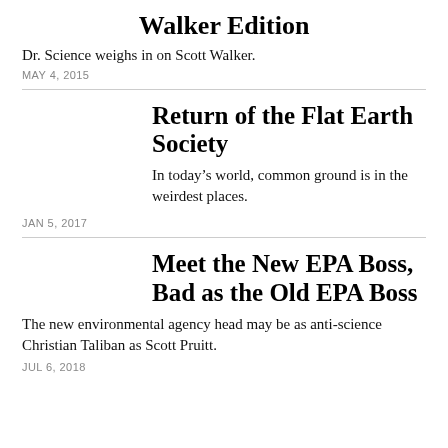Walker Edition
Dr. Science weighs in on Scott Walker.
MAY 4, 2015
Return of the Flat Earth Society
In today’s world, common ground is in the weirdest places.
JAN 5, 2017
Meet the New EPA Boss, Bad as the Old EPA Boss
The new environmental agency head may be as anti-science Christian Taliban as Scott Pruitt.
JUL 6, 2018